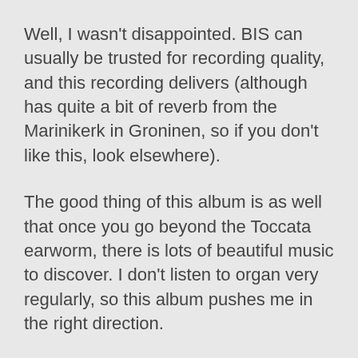Well, I wasn't disappointed. BIS can usually be trusted for recording quality, and this recording delivers (although has quite a bit of reverb from the Marinikerk in Groninen, so if you don't like this, look elsewhere).
The good thing of this album is as well that once you go beyond the Toccata earworm, there is lots of beautiful music to discover. I don't listen to organ very regularly, so this album pushes me in the right direction.
And Masaaki surely knows how to play. This album has received some controversial reviews, some like Diapason and obviously Gramophone love it, some critisize Suzuki takes too many